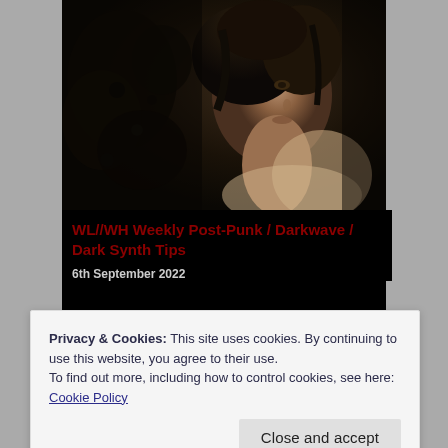[Figure (photo): Dark, vintage-style photograph of a young woman with long curly hair, looking upward, surrounded by dark floral elements. Sepia/monochrome tone.]
WL//WH Weekly Post-Punk / Darkwave / Dark Synth Tips
6th September 2022
Privacy & Cookies: This site uses cookies. By continuing to use this website, you agree to their use.
To find out more, including how to control cookies, see here:
Cookie Policy
Close and accept